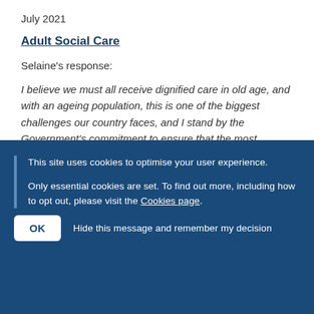July 2021
Adult Social Care
Selaine's response:
I believe we must all receive dignified care in old age, and with an ageing population, this is one of the biggest challenges our country faces, and I stand by the Government's commitment to ensure that the most vulnerable in society are given the support that they need.
While it is important to note that as of June 2021, 84% of
This site uses cookies to optimise your user experience.
Only essential cookies are set. To find out more, including how to opt out, please visit the Cookies page.
OK   Hide this message and remember my decision